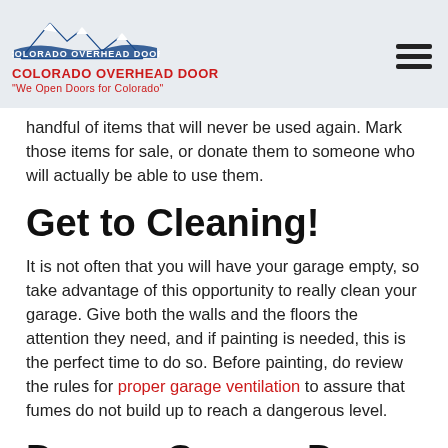Colorado Overhead Door — "We Open Doors for Colorado"
handful of items that will never be used again. Mark those items for sale, or donate them to someone who will actually be able to use them.
Get to Cleaning!
It is not often that you will have your garage empty, so take advantage of this opportunity to really clean your garage. Give both the walls and the floors the attention they need, and if painting is needed, this is the perfect time to do so. Before painting, do review the rules for proper garage ventilation to assure that fumes do not build up to reach a dangerous level.
Denver Garage Doors Susceptible to Winter Elements